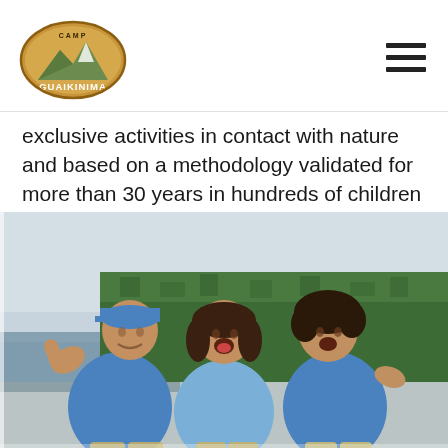Camp Guaikinima logo and navigation
exclusive activities in contact with nature and based on a methodology validated for more than 30 years in hundreds of children and young people.
[Figure (photo): Three camp counselors in blue shirts posing enthusiastically outdoors near a lake with trees in the background. The older man on the left gives a thumbs up, the woman in the center laughs with excitement, and the younger man on the right makes a shaka gesture.]